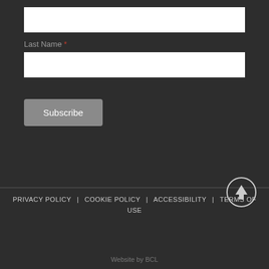Last Name *
Subscribe
PRIVACY POLICY | COOKIE POLICY | ACCESSIBILITY | TERMS OF USE
Website by BCL